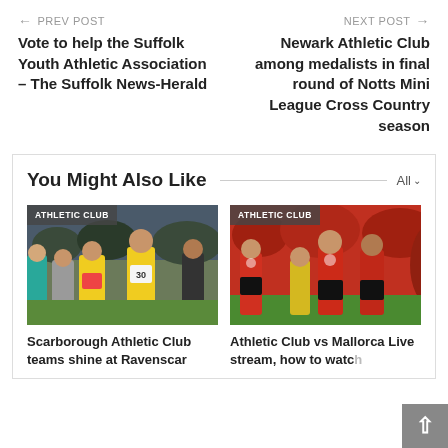← PREV POST   NEXT POST →
Vote to help the Suffolk Youth Athletic Association – The Suffolk News-Herald
Newark Athletic Club among medalists in final round of Notts Mini League Cross Country season
You Might Also Like
[Figure (photo): Three female runners posing together after a race, wearing athletic gear. Tag: ATHLETIC CLUB]
Scarborough Athletic Club teams shine at Ravenscar
[Figure (photo): Football players in red jerseys celebrating on a pitch with crowd in background. Tag: ATHLETIC CLUB]
Athletic Club vs Mallorca Live stream, how to watch